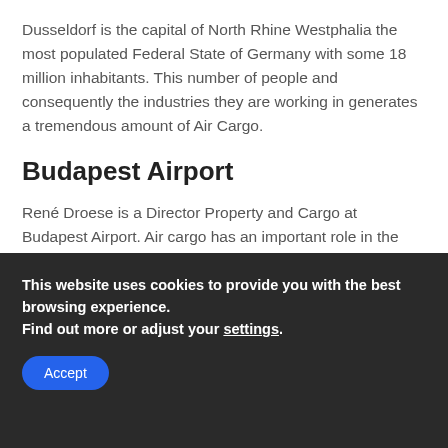Dusseldorf is the capital of North Rhine Westphalia the most populated Federal State of Germany with some 18 million inhabitants. This number of people and consequently the industries they are working in generates a tremendous amount of Air Cargo.
Budapest Airport
René Droese is a Director Property and Cargo at Budapest Airport. Air cargo has an important role in the Hungarian and Central Eastern European economy, such as pharmaceuticals,
This website uses cookies to provide you with the best browsing experience.
Find out more or adjust your settings.